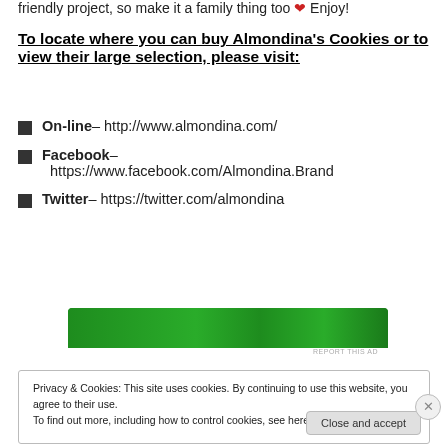friendly project, so make it a family thing too ❤ Enjoy!
To locate where you can buy Almondina's Cookies or to view their large selection, please visit:
On-line– http://www.almondina.com/
Facebook– https://www.facebook.com/Almondina.Brand
Twitter– https://twitter.com/almondina
[Figure (other): Green advertisement banner]
REPORT THIS AD
Privacy & Cookies: This site uses cookies. By continuing to use this website, you agree to their use. To find out more, including how to control cookies, see here: Cookie Policy
Close and accept